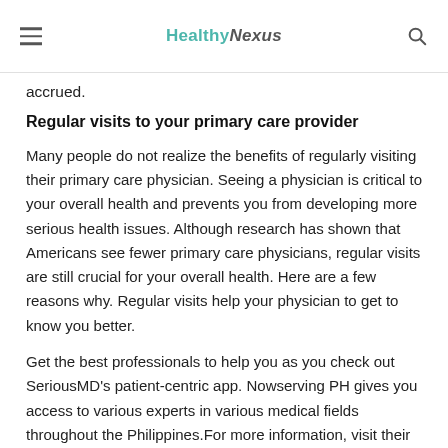HealthyNexus
accrued.
Regular visits to your primary care provider
Many people do not realize the benefits of regularly visiting their primary care physician. Seeing a physician is critical to your overall health and prevents you from developing more serious health issues. Although research has shown that Americans see fewer primary care physicians, regular visits are still crucial for your overall health. Here are a few reasons why. Regular visits help your physician to get to know you better.
Get the best professionals to help you as you check out SeriousMD's patient-centric app. Nowserving PH gives you access to various experts in various medical fields throughout the Philippines.For more information, visit their website www. nowserving. ph/ and download their app from the Play Store or App Store.